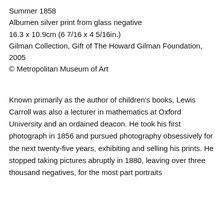Summer 1858
Albumen silver print from glass negative
16.3 x 10.9cm (6 7/16 x 4 5/16in.)
Gilman Collection, Gift of The Howard Gilman Foundation, 2005
© Metropolitan Museum of Art
Known primarily as the author of children's books, Lewis Carroll was also a lecturer in mathematics at Oxford University and an ordained deacon. He took his first photograph in 1856 and pursued photography obsessively for the next twenty-five years, exhibiting and selling his prints. He stopped taking pictures abruptly in 1880, leaving over three thousand negatives, for the most part portraits